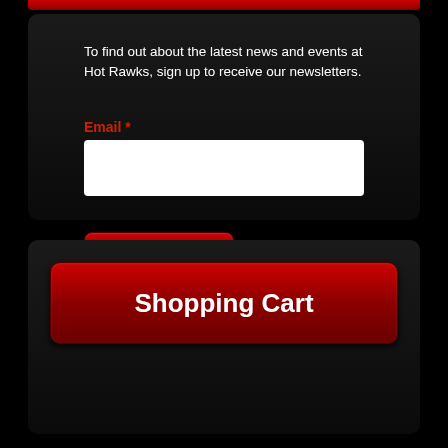To find out about the latest news and events at Hot Rawks, sign up to receive our newsletters.
Email *
[Figure (screenshot): White email input text field]
[Figure (screenshot): Red Submit button with white bold text]
Shopping Cart